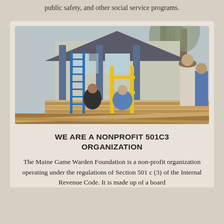public safety, and other social service programs.
[Figure (photo): Several workers and volunteers building or repairing a wooden deck/porch structure outside a house. A blue ladder is visible on the left, yellow scaffolding in the center, and trees visible in the background. Multiple people are bent over working on lumber.]
WE ARE A NONPROFIT 501C3 ORGANIZATION
The Maine Game Warden Foundation is a non-profit organization operating under the regulations of Section 501 c (3) of the Internal Revenue Code. It is made up of a board